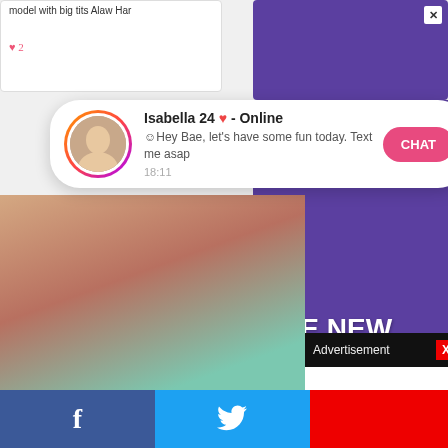model with big tits Alaw Har
♥ 2
[Figure (screenshot): Chat notification popup with avatar, name Isabella 24 ♥ - Online, message Hey Bae let's have some fun today. Text me asap, timestamp 18:11, and pink CHAT button]
[Figure (photo): Photo of a young woman with long red hair]
[Figure (infographic): Purple advertisement banner with text THE NEW]
Advertisement
[Figure (other): Social share bar with Facebook and Twitter buttons]